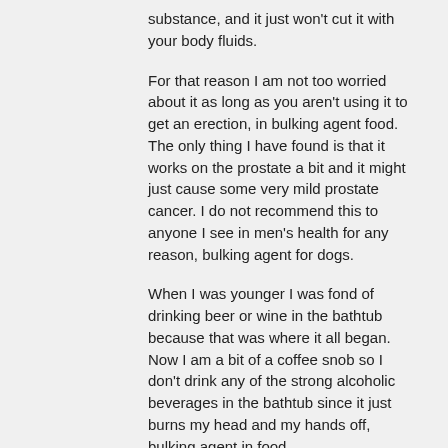substance, and it just won't cut it with your body fluids.
For that reason I am not too worried about it as long as you aren't using it to get an erection, in bulking agent food. The only thing I have found is that it works on the prostate a bit and it might just cause some very mild prostate cancer. I do not recommend this to anyone I see in men's health for any reason, bulking agent for dogs.
When I was younger I was fond of drinking beer or wine in the bathtub because that was where it all began. Now I am a bit of a coffee snob so I don't drink any of the strong alcoholic beverages in the bathtub since it just burns my head and my hands off, bulking agent in food.